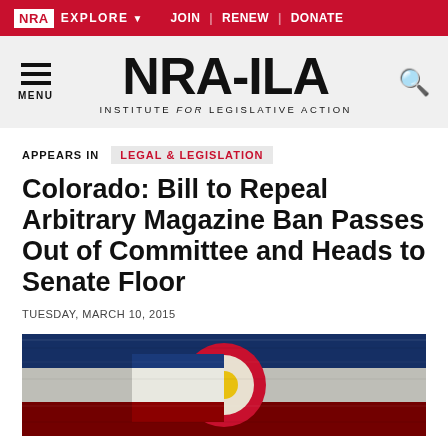NRA EXPLORE  JOIN | RENEW | DONATE
[Figure (logo): NRA-ILA Institute for Legislative Action logo with menu icon and search icon]
APPEARS IN   LEGAL & LEGISLATION
Colorado: Bill to Repeal Arbitrary Magazine Ban Passes Out of Committee and Heads to Senate Floor
TUESDAY, MARCH 10, 2015
[Figure (photo): Colorado state flag with blue, white and red stripes and red C with yellow and white circles, grunge/distressed texture]